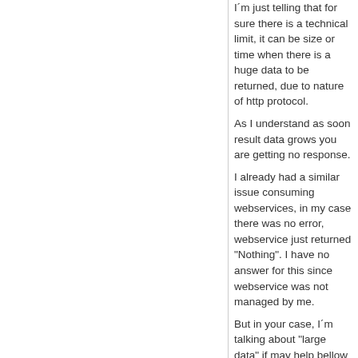I´m just telling that for sure there is a technical limit, it can be size or time when there is a huge data to be returned, due to nature of http protocol.
As I understand as soon result data grows you are getting no response.
I already had a similar issue consuming webservices, in my case there was no error, webservice just returned "Nothing". I have no answer for this since webservice was not managed by me.

But in your case, I´m talking about "large data" if may help bellow some threads with similar issue https://forums.asp.net/t/1369287.aspx?How+to+get+very+huge+number+of+records+of+data+through+web